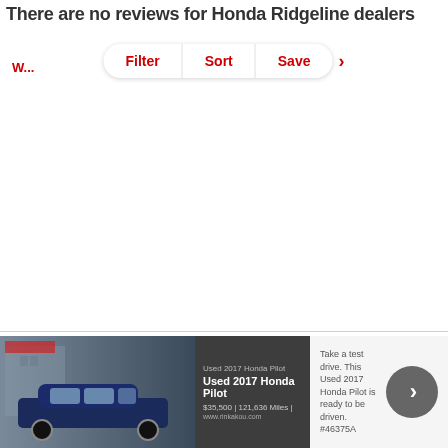There are no reviews for Honda Ridgeline dealers
Filter   Sort   Save
[Figure (screenshot): Advertisement banner showing a Used 2017 Honda Pilot with price and call-to-action text: 'Take a test drive. This Used 2017 Honda Pilot is ready to be driven. #46375A']